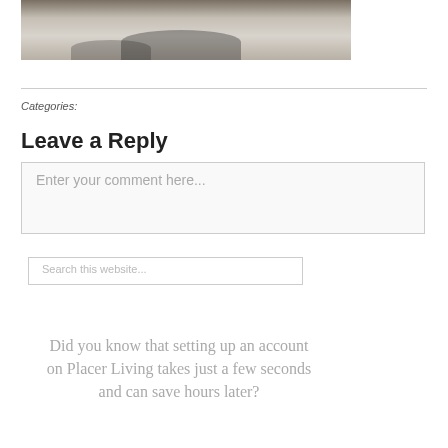[Figure (photo): Cropped bottom portion of a street/road photo with shadows on pavement]
Categories:
Leave a Reply
Enter your comment here...
Search this website...
Did you know that setting up an account on Placer Living takes just a few seconds and can save hours later?